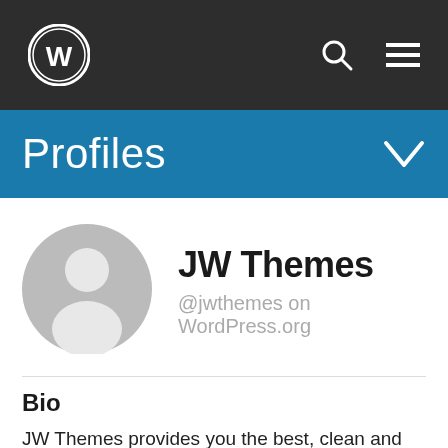[Figure (screenshot): WordPress navigation bar with WordPress logo, search icon, and hamburger menu on dark background]
Profiles
[Figure (illustration): Generic grey circular avatar/profile placeholder icon]
JW Themes
@jwthemes on WordPress.org
Bio
JW Themes provides you the best, clean and elegant themes. We have a team of expert designers and developers who create amazing themes for WordPress. Our eye catching themes are user-friendly and have sound browser compatibility. We believe the sites you